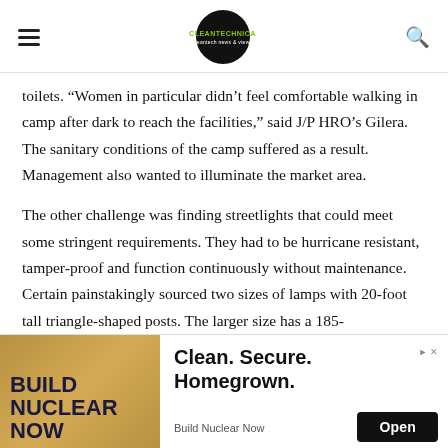CleanTechnica
toilets. “Women in particular didn’t feel comfortable walking in camp after dark to reach the facilities,” said J/P HRO’s Gilera. The sanitary conditions of the camp suffered as a result. Management also wanted to illuminate the market area.
The other challenge was finding streetlights that could meet some stringent requirements. They had to be hurricane resistant, tamper-proof and function continuously without maintenance. Certain painstakingly sourced two sizes of lamps with 20-foot tall triangle-shaped posts. The larger size has a 185-
hotovoltaic module on top, two sealed gel batteries inside a
[Figure (infographic): Advertisement banner: BUILD NUCLEAR NOW on the left with tan/gold background, and Clean. Secure. Homegrown. Build Nuclear Now with Open button on the right.]